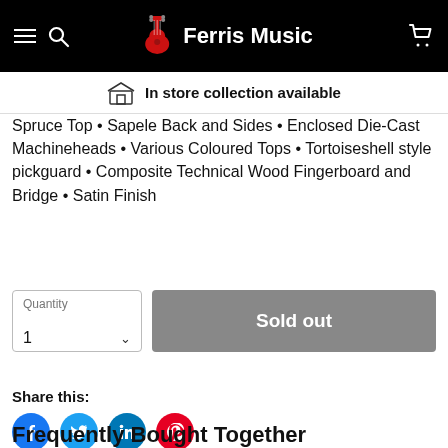Ferris Music
In store collection available
Spruce Top • Sapele Back and Sides • Enclosed Die-Cast Machineheads • Various Coloured Tops • Tortoiseshell style pickguard • Composite Technical Wood Fingerboard and Bridge • Satin Finish
Quantity 1 | Sold out
Share this:
Frequently Bought Together